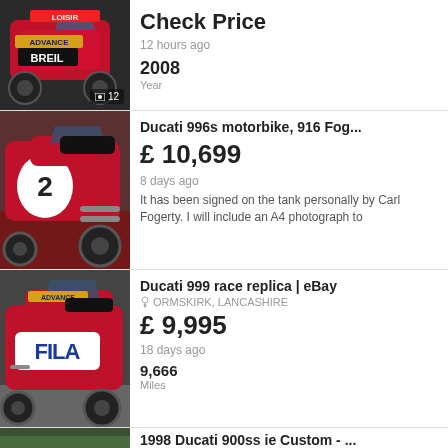[Figure (photo): Red Ducati race motorcycle with BREIL and ADVANCE branding, 12 photos indicator]
Check Price
12 hours ago
2008
Year
[Figure (photo): Red Ducati 996s motorbike with number 2 on fairing, displayed indoors]
Ducati 996s motorbike, 916 Fog...
£ 10,699
8 days ago
It has been signed on the tank personally by Carl Fogerty. I will include an A4 photograph to
[Figure (photo): Red and white Ducati 999 race replica with FILA livery, ADVANCE branding]
Ducati 999 race replica | eBay
ORMSKIRK, LANCASHIRE
£ 9,995
18 days ago
9,666
Miles
[Figure (photo): 1998 Ducati 900ss ie Custom - partial image at bottom]
1998 Ducati 900ss ie Custom - ...